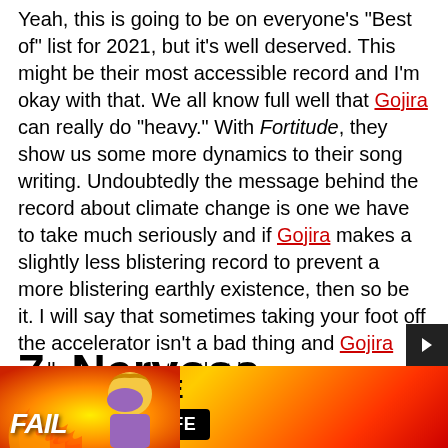Yeah, this is going to be on everyone's "Best of" list for 2021, but it's well deserved. This might be their most accessible record and I'm okay with that. We all know full well that Gojira can really do "heavy." With Fortitude, they show us some more dynamics to their song writing. Undoubtedly the message behind the record about climate change is one we have to take much seriously and if Gojira makes a slightly less blistering record to prevent a more blistering earthly existence, then so be it. I will say that sometimes taking your foot off the accelerator isn't a bad thing and Gojira really demonstrates that here.
7. Nervosa –
Pe...
[Figure (other): Advertisement banner for BitLife mobile game with flame background, cartoon character face-palming, FAIL text, BitLife logo with pill icon, and 'START A NEW LIFE' button]